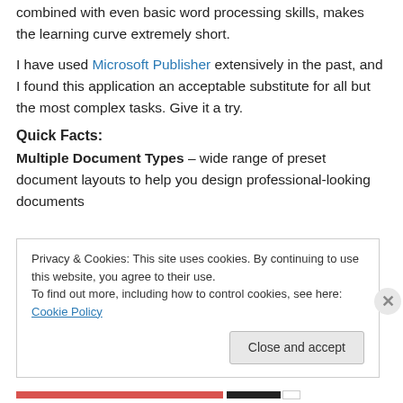combined with even basic word processing skills, makes the learning curve extremely short.
I have used Microsoft Publisher extensively in the past, and I found this application an acceptable substitute for all but the most complex tasks. Give it a try.
Quick Facts:
Multiple Document Types – wide range of preset document layouts to help you design professional-looking documents
Privacy & Cookies: This site uses cookies. By continuing to use this website, you agree to their use.
To find out more, including how to control cookies, see here: Cookie Policy
Close and accept